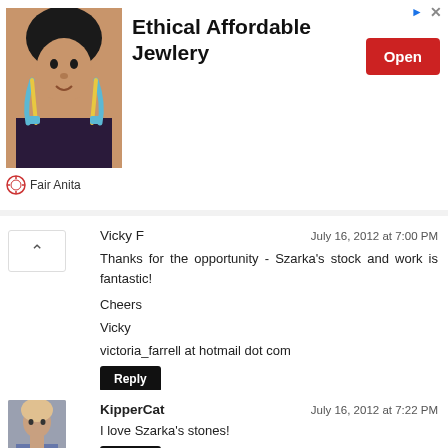[Figure (infographic): Advertisement banner for Fair Anita jewelry with photo of woman wearing earrings, bold text 'Ethical Affordable Jewlery', red Open button, and Fair Anita logo]
Vicky F
July 16, 2012 at 7:00 PM

Thanks for the opportunity - Szarka's stock and work is fantastic!

Cheers

Vicky

victoria_farrell at hotmail dot com
Reply
KipperCat
July 16, 2012 at 7:22 PM

I love Szarka's stones!
Reply